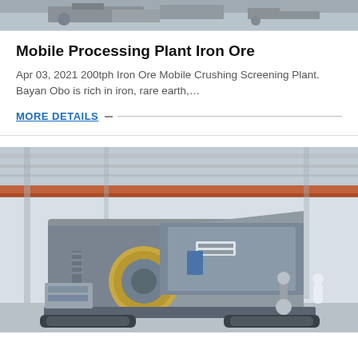[Figure (photo): Top portion of industrial machinery/mining equipment, partially cropped at top of page]
Mobile Processing Plant Iron Ore
Apr 03, 2021 200tph Iron Ore Mobile Crushing Screening Plant. Bayan Obo is rich in iron, rare earth,…
MORE DETAILS
[Figure (photo): Mobile jaw crusher / crushing plant inside an industrial facility with orange crane beam visible. Large grey mobile crushing unit on tracks with yellow flywheel.]